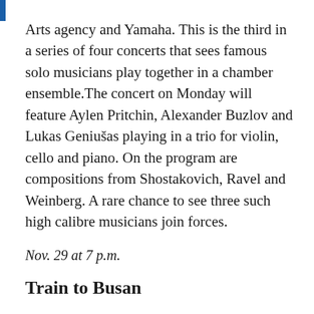Arts agency and Yamaha. This is the third in a series of four concerts that sees famous solo musicians play together in a chamber ensemble.The concert on Monday will feature Aylen Pritchin,  Alexander Buzlov and Lukas Geniušas playing in a trio for violin, cello and piano. On the program are compositions from Shostakovich, Ravel and Weinberg. A rare chance to see three such high calibre musicians join forces.
Nov. 29 at 7 p.m.
Train to Busan
Korean zombie thriller
“Train to Busan” has taken Asia by storm since its release earlier this year and now the zombie thriller is